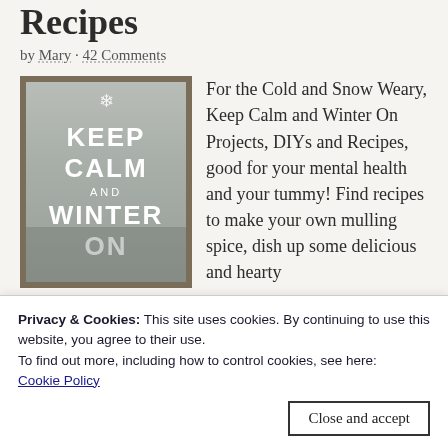Recipes
by Mary · 42 Comments
[Figure (illustration): Keep Calm and Winter On poster with snowy winter scene background, white bold text on grey background]
For the Cold and Snow Weary, Keep Calm and Winter On Projects, DIYs and Recipes, good for your mental health and your tummy! Find recipes to make your own mulling spice, dish up some delicious and hearty Chicken-Bacon Pot Pie, serve up a bowl of the best
Privacy & Cookies: This site uses cookies. By continuing to use this website, you agree to their use.
To find out more, including how to control cookies, see here:
Cookie Policy
Close and accept